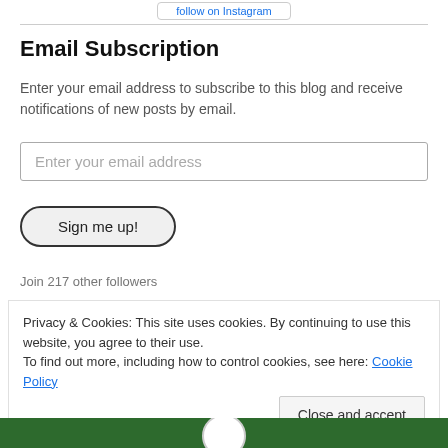[Figure (screenshot): Partial button at top of page, blue link text visible]
Email Subscription
Enter your email address to subscribe to this blog and receive notifications of new posts by email.
[Figure (screenshot): Email input field with placeholder text 'Enter your email address']
[Figure (screenshot): Sign me up! button with rounded pill border]
Join 217 other followers
Privacy & Cookies: This site uses cookies. By continuing to use this website, you agree to their use.
To find out more, including how to control cookies, see here: Cookie Policy
[Figure (screenshot): Close and accept button]
[Figure (screenshot): Green footer with circular logo/emblem partially visible]